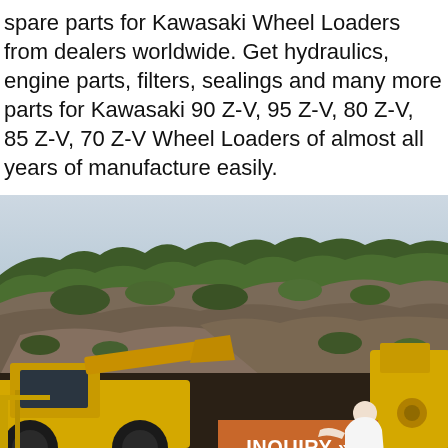spare parts for Kawasaki Wheel Loaders from dealers worldwide. Get hydraulics, engine parts, filters, sealings and many more parts for Kawasaki 90 Z-V, 95 Z-V, 80 Z-V, 85 Z-V, 70 Z-V Wheel Loaders of almost all years of manufacture easily.
[Figure (photo): Outdoor scene showing a rocky hillside with green vegetation and trees in the background under an overcast sky. In the foreground are yellow construction wheel loaders/heavy equipment.]